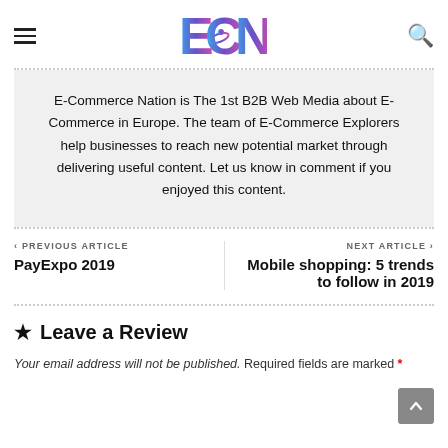[Figure (logo): ECN (E-Commerce Nation) logo with blue to purple gradient lettering]
E-Commerce Nation is The 1st B2B Web Media about E-Commerce in Europe. The team of E-Commerce Explorers help businesses to reach new potential market through delivering useful content. Let us know in comment if you enjoyed this content.
PREVIOUS ARTICLE
PayExpo 2019
NEXT ARTICLE
Mobile shopping: 5 trends to follow in 2019
Leave a Review
Your email address will not be published. Required fields are marked *